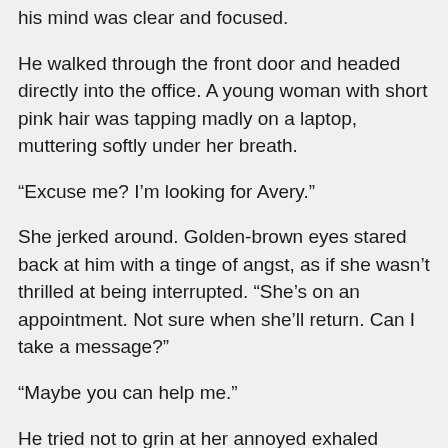his mind was clear and focused.
He walked through the front door and headed directly into the office. A young woman with short pink hair was tapping madly on a laptop, muttering softly under her breath.
“Excuse me? I’m looking for Avery.”
She jerked around. Golden-brown eyes stared back at him with a tinge of angst, as if she wasn’t thrilled at being interrupted. “She’s on an appointment. Not sure when she’ll return. Can I take a message?”
“Maybe you can help me.”
He tried not to grin at her annoyed exhaled breath, which was followed up by a huge fake smile. “Sure. What can I do for you?”
“I’m Carter Ross. Ally’s brother.”
Recognition lit up, and the stressed lines of her face